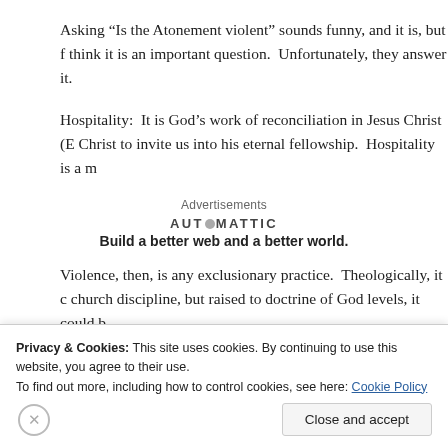Asking “Is the Atonement violent” sounds funny, and it is, but f think it is an important question.  Unfortunately, they answer it.
Hospitality:  It is God’s work of reconciliation in Jesus Christ (E Christ to invite us into his eternal fellowship.  Hospitality is a m
[Figure (other): Automattic advertisement: logo text 'AUTOMATTIC' with tagline 'Build a better web and a better world.']
Violence, then, is any exclusionary practice.  Theologically, it c church discipline, but raised to doctrine of God levels, it could b
Privacy & Cookies: This site uses cookies. By continuing to use this website, you agree to their use.
To find out more, including how to control cookies, see here: Cookie Policy